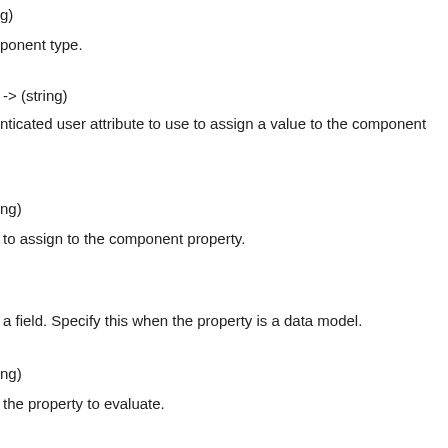g)
ponent type.
-> (string)
nticated user attribute to use to assign a value to the component
ng)
to assign to the component property.
a field. Specify this when the property is a data model.
ng)
the property to evaluate.
(string)
he property to evaluate.
ng)